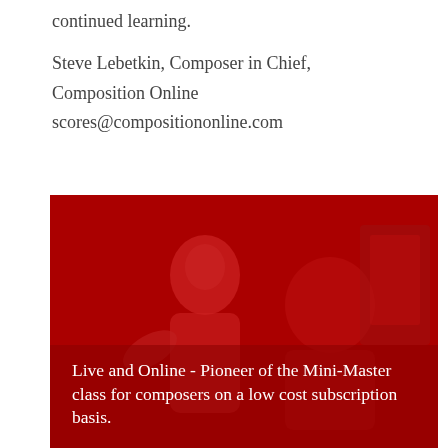continued learning.
Steve Lebetkin, Composer in Chief, Composition Online
scores@compositiononline.com
[Figure (photo): Two people in a classroom or workshop setting, overlaid with a dark red color. One person appears to be gesturing while speaking. Text overlay reads: Live and Online - Pioneer of the Mini-Master class for composers on a low cost subscription basis.]
Live and Online - Pioneer of the Mini-Master class for composers on a low cost subscription basis.